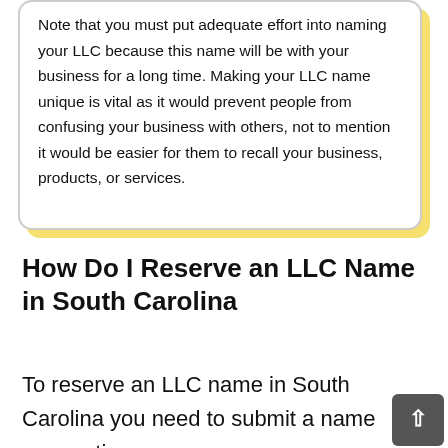Note that you must put adequate effort into naming your LLC because this name will be with your business for a long time. Making your LLC name unique is vital as it would prevent people from confusing your business with others, not to mention it would be easier for them to recall your business, products, or services.
How Do I Reserve an LLC Name in South Carolina
To reserve an LLC name in South Carolina you need to submit a name reservation